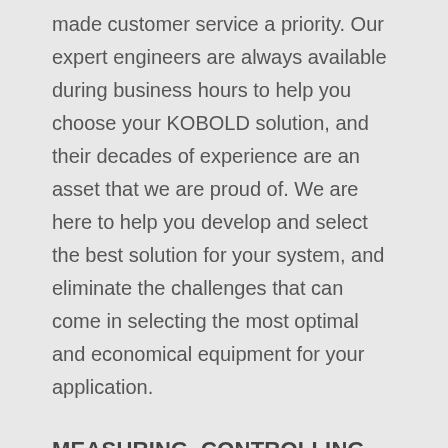made customer service a priority. Our expert engineers are always available during business hours to help you choose your KOBOLD solution, and their decades of experience are an asset that we are proud of. We are here to help you develop and select the best solution for your system, and eliminate the challenges that can come in selecting the most optimal and economical equipment for your application.
MEASURING, CONTROLLING AND AUTOMATING WITH KOBOLD
Our technical solutions can be easily integrated into a wide variety of systems in many industrial sectors. Thanks to internationally recognized BUS interfaces, most of our models can be easily adapted into already established automated processes. Our innovative instrumentation delivers that highest standards of service and can handle